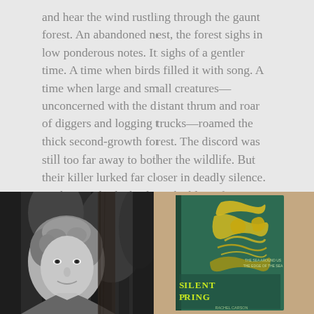and hear the wind rustling through the gaunt forest. An abandoned nest, the forest sighs in low ponderous notes. It sighs of a gentler time. A time when birds filled it with song. A time when large and small creatures—unconcerned with the distant thrum and roar of diggers and logging trucks—roamed the thick second-growth forest. The discord was still too far away to bother the wildlife. But their killer lurked far closer in deadly silence. And it caught the birds in the bliss of ignorance…
[Figure (photo): Left half: black and white photograph of a woman (Rachel Carson) with curly hair, outdoors near trees. Right half: color photograph of the book cover of Silent Spring, green cover with yellow illustrated design.]